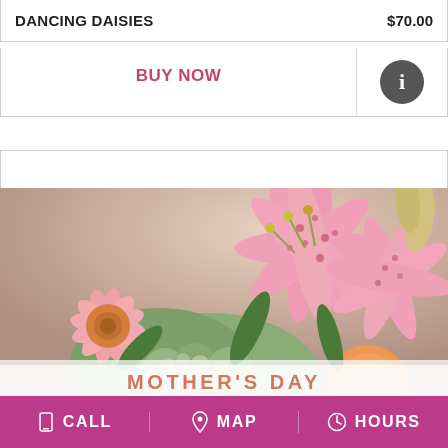DANCING DAISIES   $70.00
BUY NOW
[Figure (photo): Close-up photo of a pink and orange flower arrangement featuring stargazer lilies, gerbera daisies, green hydrangeas, and orange roses. Labeled 'MOTHER'S DAY' at the bottom.]
MOTHER'S DAY
CALL   MAP   HOURS